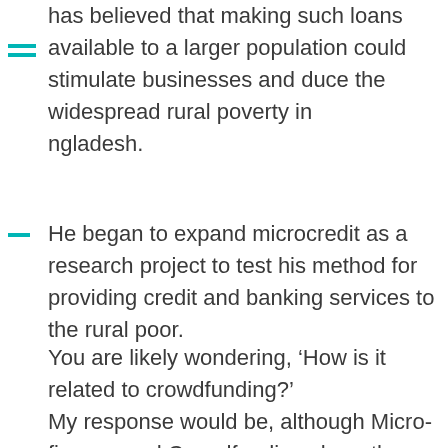has believed that making such loans available to a larger population could stimulate businesses and reduce the widespread rural poverty in Bangladesh.
He began to expand microcredit as a research project to test his method for providing credit and banking services to the rural poor.
You are likely wondering, ‘How is it related to crowdfunding?’
My response would be, although Micro-finance and Crowdfunding share the same core concept, they are not related. We can get away by calling them distant cousins.
The Grameen bank’s success continued and its services were extended to other districts of